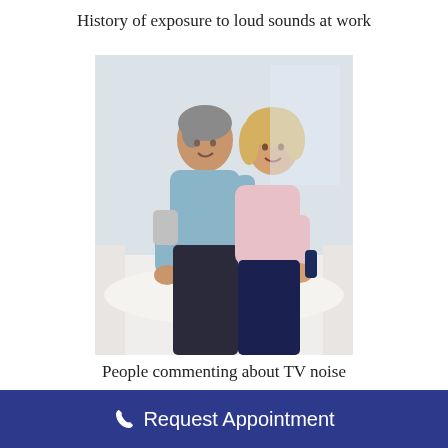History of exposure to loud sounds at work
[Figure (photo): A middle-aged couple sitting together on a white sofa, smiling. The man has grey hair and wears a light blue shirt; the woman is blonde and holds a TV remote. They appear relaxed and comfortable.]
People commenting about TV noise
Hearing loss is usually gradual, and by
Request Appointment